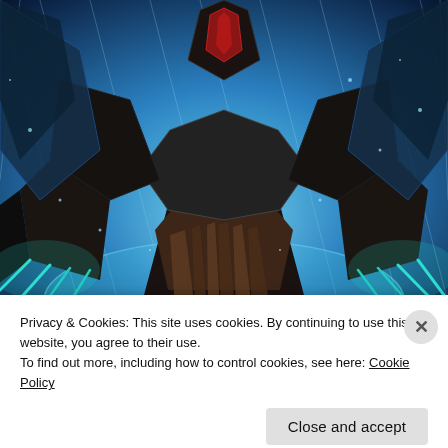[Figure (illustration): Digital fantasy illustration of a dark armored figure with teal/cyan glowing claws and wings, viewed from below against a blue cosmic background. The character has red accents on the helmet and dark metallic armor with brown sash-like elements.]
Privacy & Cookies: This site uses cookies. By continuing to use this website, you agree to their use.
To find out more, including how to control cookies, see here: Cookie Policy
Close and accept